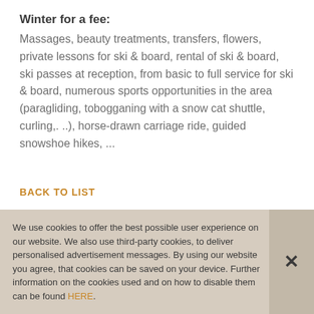Winter for a fee:
Massages, beauty treatments, transfers, flowers, private lessons for ski & board, rental of ski & board, ski passes at reception, from basic to full service for ski & board, numerous sports opportunities in the area (paragliding, tobogganing with a snow cat shuttle, curling,. ..), horse-drawn carriage ride, guided snowshoe hikes, ...
BACK TO LIST
We use cookies to offer the best possible user experience on our website. We also use third-party cookies, to deliver personalised advertisement messages. By using our website you agree, that cookies can be saved on your device. Further information on the cookies used and on how to disable them can be found HERE.